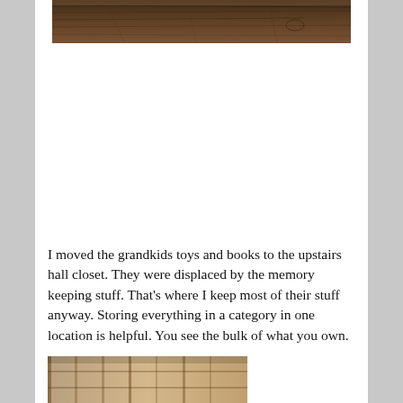[Figure (photo): Close-up of a dark wooden floor or table surface with natural wood grain texture, brown tones.]
I moved the grandkids toys and books to the upstairs hall closet. They were displaced by the memory keeping stuff. That’s where I keep most of their stuff anyway. Storing everything in a category in one location is helpful. You see the bulk of what you own.
[Figure (photo): Partial view of a room interior, partially visible at the bottom of the page.]